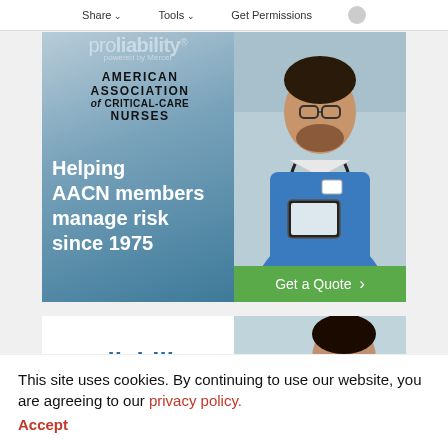Share   Tools   Get Permissions
[Figure (illustration): Proliability powered by Mercer advertisement for AACN members — left side shows AACN logo and text 'Helping AACN members manage risk since 1975' on blue gradient background; right side shows doctor in blue scrubs with stethoscope reading a tablet; green 'Get a Quote' button at bottom right]
[Figure (illustration): Second Proliability powered by Mercer advertisement banner — left side shows proliability logo in blue/gray; right side shows a medical professional; AACN watermark visible]
This site uses cookies. By continuing to use our website, you are agreeing to our privacy policy. Accept